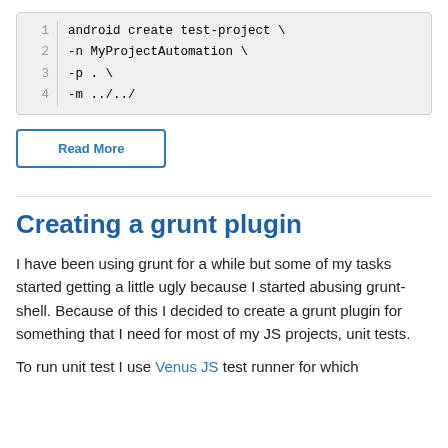1  android create test-project \
2  -n MyProjectAutomation \
3  -p . \
4  -m ../../
Read More
Creating a grunt plugin
I have been using grunt for a while but some of my tasks started getting a little ugly because I started abusing grunt-shell. Because of this I decided to create a grunt plugin for something that I need for most of my JS projects, unit tests.
To run unit test I use Venus JS test runner for which